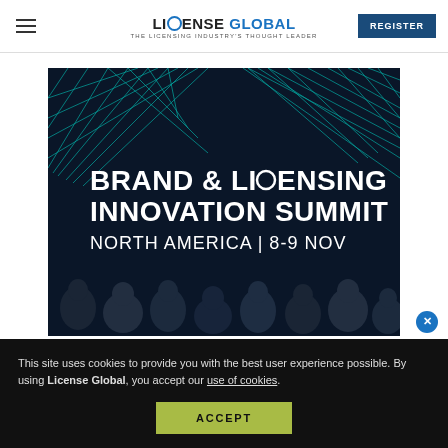LICENSE GLOBAL — THE LICENSING INDUSTRY'S THOUGHT LEADER | REGISTER
[Figure (illustration): Brand & Licensing Innovation Summit promotional banner. Dark navy background with geometric teal grid/triangular designs. Text reads: BRAND & LICENSING INNOVATION SUMMIT — NORTH AMERICA | 8-9 NOV. Silhouettes of audience members visible at bottom.]
This site uses cookies to provide you with the best user experience possible. By using License Global, you accept our use of cookies.
ACCEPT